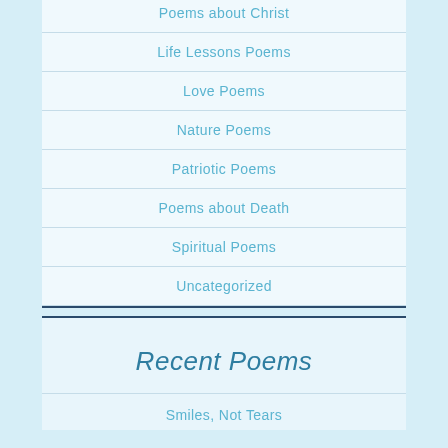Poems about Christ
Life Lessons Poems
Love Poems
Nature Poems
Patriotic Poems
Poems about Death
Spiritual Poems
Uncategorized
Recent Poems
Smiles, Not Tears